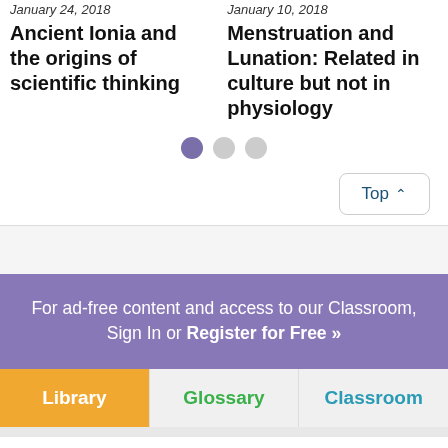January 24, 2018
Ancient Ionia and the origins of scientific thinking
January 10, 2018
Menstruation and Lunation: Related in culture but not in physiology
[Figure (other): Three pagination dots: one active (purple), two inactive (gray)]
Top ▲
For ad-free content and access to our Classroom, Sign In or Register for Free »
Library
Glossary
Classroom